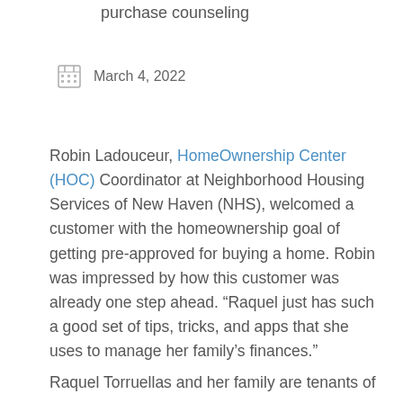purchase counseling
March 4, 2022
Robin Ladouceur, HomeOwnership Center (HOC) Coordinator at Neighborhood Housing Services of New Haven (NHS), welcomed a customer with the homeownership goal of getting pre-approved for buying a home. Robin was impressed by how this customer was already one step ahead. “Raquel just has such a good set of tips, tricks, and apps that she uses to manage her family’s finances.”
Raquel Torruellas and her family are tenants of